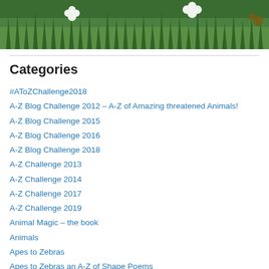[Figure (photo): Photo of green grass with white clover flowers]
Categories
#AToZChallenge2018
A-Z Blog Challenge 2012 – A-Z of Amazing threatened Animals!
A-Z Blog Challenge 2015
A-Z Blog Challenge 2016
A-Z Blog Challenge 2018
A-Z Challenge 2013
A-Z Challenge 2014
A-Z Challenge 2017
A-Z Challenge 2019
Animal Magic – the book
Animals
Apes to Zebras
Apes to Zebras an A-Z of Shape Poems
AtoZ Challenge 2019